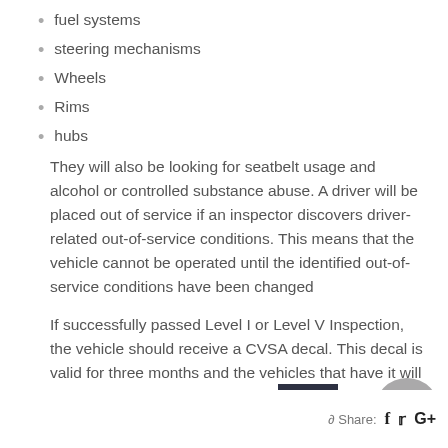fuel systems
steering mechanisms
Wheels
Rims
hubs
They will also be looking for seatbelt usage and alcohol or controlled substance abuse. A driver will be placed out of service if an inspector discovers driver-related out-of-service conditions. This means that the vehicle cannot be operated until the identified out-of-service conditions have been changed
If successfully passed Level I or Level V Inspection, the vehicle should receive a CVSA decal. This decal is valid for three months and the vehicles that have it will not be re-inspected during this period of time.